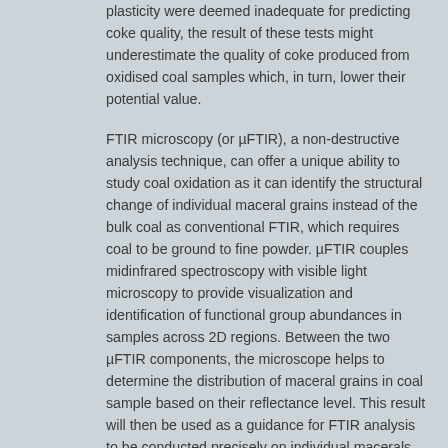plasticity were deemed inadequate for predicting coke quality, the result of these tests might underestimate the quality of coke produced from oxidised coal samples which, in turn, lower their potential value.
FTIR microscopy (or µFTIR), a non-destructive analysis technique, can offer a unique ability to study coal oxidation as it can identify the structural change of individual maceral grains instead of the bulk coal as conventional FTIR, which requires coal to be ground to fine powder. µFTIR couples midinfrared spectroscopy with visible light microscopy to provide visualization and identification of functional group abundances in samples across 2D regions. Between the two µFTIR components, the microscope helps to determine the distribution of maceral grains in coal sample based on their reflectance level. This result will then be used as a guidance for FTIR analysis to be conducted precisely on individual macerals. As a result, this feature has the potential to allow coal